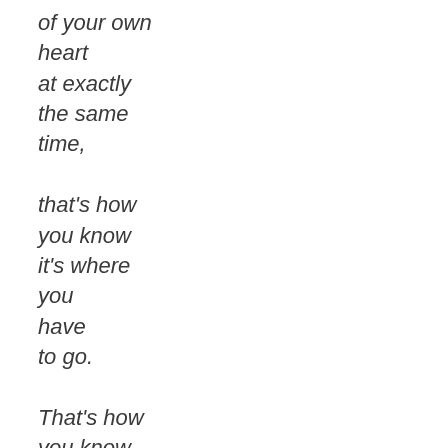of your own
heart
at exactly
the same
time,

that's how
you know
it's where
you
have
to go.

That's how
you know
it's the road
you